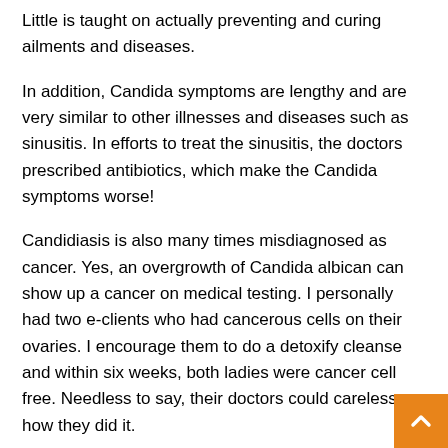Little is taught on actually preventing and curing ailments and diseases.
In addition, Candida symptoms are lengthy and are very similar to other illnesses and diseases such as sinusitis. In efforts to treat the sinusitis, the doctors prescribed antibiotics, which make the Candida symptoms worse!
Candidiasis is also many times misdiagnosed as cancer. Yes, an overgrowth of Candida albican can show up a cancer on medical testing. I personally had two e-clients who had cancerous cells on their ovaries. I encourage them to do a detoxify cleanse and within six weeks, both ladies were cancer cell free. Needless to say, their doctors could careless how they did it.
Since Candidiasis is often not diagnosed, the problems